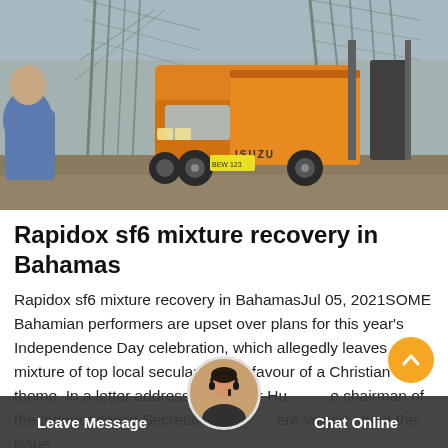[Figure (photo): An orange Isuzu truck parked at a construction or industrial site. A person in a blue shirt is visible on the left side. Metal scaffolding structures are visible in the background.]
Rapidox sf6 mixture recovery in Bahamas
Rapidox sf6 mixture recovery in BahamasJul 05, 2021SOME Bahamian performers are upset over plans for this year's Independence Day celebration, which allegedly leaves out a mixture of top local secular acts in favour of a Christian theme. In a letter addressed to Mark Hu, the chairman of the Independence Secretariat, concerns were voiced about the issue.
Leave Message   Chat Online